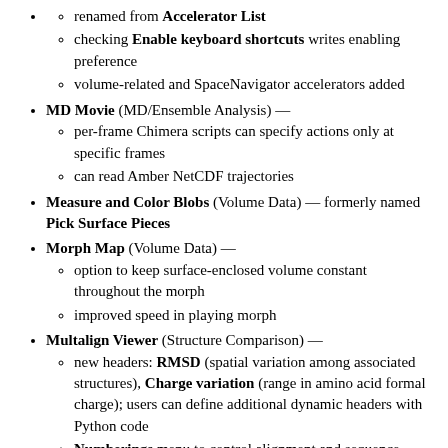renamed from Accelerator List
checking Enable keyboard shortcuts writes enabling preference
volume-related and SpaceNavigator accelerators added
MD Movie (MD/Ensemble Analysis) —
per-frame Chimera scripts can specify actions only at specific frames
can read Amber NetCDF trajectories
Measure and Color Blobs (Volume Data) — formerly named Pick Surface Pieces
Morph Map (Volume Data) —
option to keep surface-enclosed volume constant throughout the morph
improved speed in playing morph
Multalign Viewer (Structure Comparison) —
new headers: RMSD (spatial variation among associated structures), Charge variation (range in amino acid formal charge); users can define additional dynamic headers with Python code
Numberings menu to control alignment and sequence numbering
a previously loaded tree can be hidden/shown